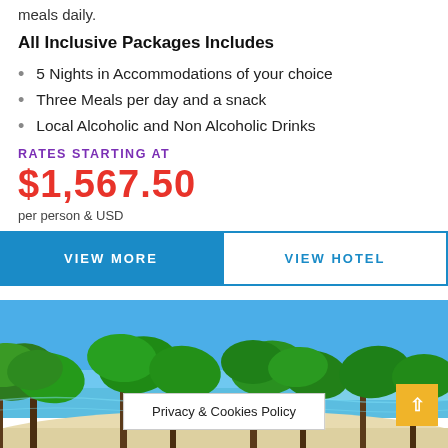meals daily.
All Inclusive Packages Includes
5 Nights in Accommodations of your choice
Three Meals per day and a snack
Local Alcoholic and Non Alcoholic Drinks
RATES STARTING AT
$1,567.50
per person & USD
VIEW MORE
VIEW HOTEL
[Figure (photo): Tropical beach scene with palm trees, white sand, and blue water/sky]
Privacy & Cookies Policy